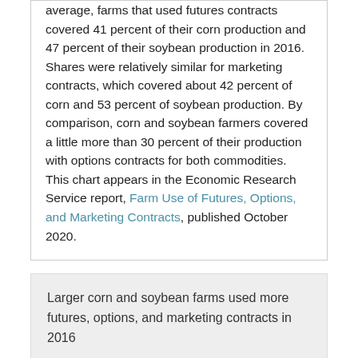average, farms that used futures contracts covered 41 percent of their corn production and 47 percent of their soybean production in 2016. Shares were relatively similar for marketing contracts, which covered about 42 percent of corn and 53 percent of soybean production. By comparison, corn and soybean farmers covered a little more than 30 percent of their production with options contracts for both commodities. This chart appears in the Economic Research Service report, Farm Use of Futures, Options, and Marketing Contracts, published October 2020.
Larger corn and soybean farms used more futures, options, and marketing contracts in 2016
Friday, November 13, 2020